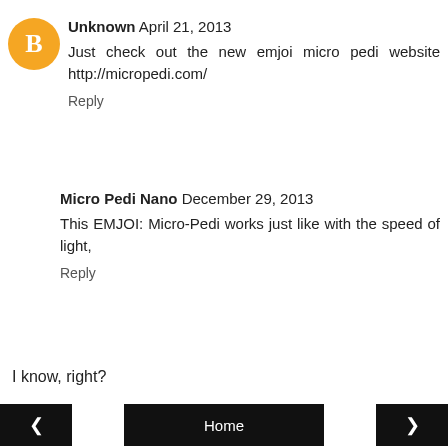[Figure (logo): Orange circle with white blogger 'B' icon — avatar for Unknown commenter]
Unknown April 21, 2013
Just check out the new emjoi micro pedi website http://micropedi.com/
Reply
Micro Pedi Nano December 29, 2013
This EMJOI: Micro-Pedi works just like with the speed of light,
Reply
I know, right?